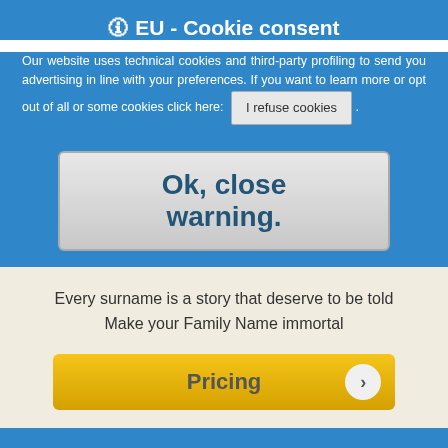🛈 EU - Cookie consent
Our website uses technical cookies and third-party profiling to send you advertising in line with your preferences. If you want to learn more or opt out of all or some cookies click here: I refuse cookies .
Ok, close warning.
Every surname is a story that deserve to be told
Make your Family Name immortal
Pricing
For more information or questions please do not hesitate contact us: